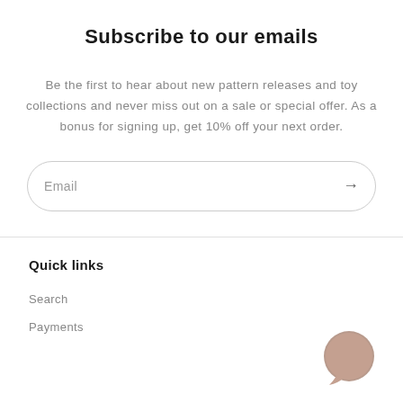Subscribe to our emails
Be the first to hear about new pattern releases and toy collections and never miss out on a sale or special offer. As a bonus for signing up, get 10% off your next order.
[Figure (other): Email input field with rounded border containing placeholder text 'Email' and a right arrow button]
Quick links
Search
Payments
[Figure (illustration): Chat bubble icon — a round beige/tan circle with a small speech bubble cutout at the bottom left]